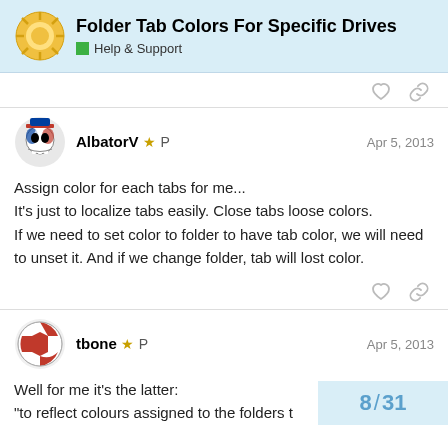Folder Tab Colors For Specific Drives — Help & Support
Assign color for each tabs for me...
It's just to localize tabs easily. Close tabs loose colors.
If we need to set color to folder to have tab color, we will need to unset it. And if we change folder, tab will lost color.
Well for me it's the latter:
"to reflect colours assigned to the folders t